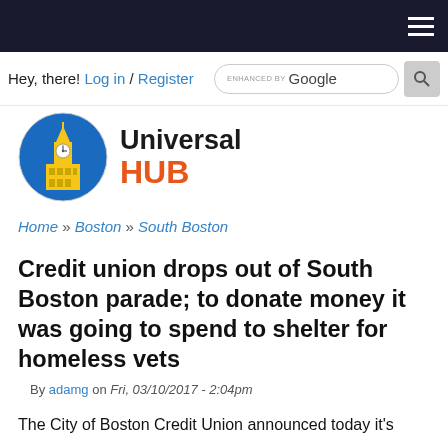Universal HUB website header with hamburger menu
Hey, there! Log in / Register
[Figure (logo): Universal HUB logo: yellow clock tower building on blue circle background, with text 'Universal HUB']
Home » Boston » South Boston
Credit union drops out of South Boston parade; to donate money it was going to spend to shelter for homeless vets
By adamg on Fri, 03/10/2017 - 2:04pm
The City of Boston Credit Union announced today it's